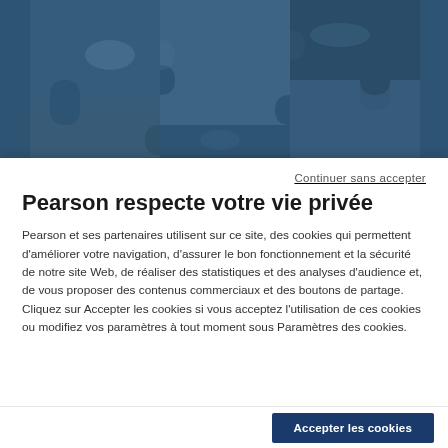[Figure (photo): Close-up photo of blue-tinted interlocking puzzle pieces with a dark blue overlay, creating an abstract background image.]
Continuer sans accepter
Pearson respecte votre vie privée
Pearson et ses partenaires utilisent sur ce site, des cookies qui permettent d'améliorer votre navigation, d'assurer le bon fonctionnement et la sécurité de notre site Web, de réaliser des statistiques et des analyses d'audience et, de vous proposer des contenus commerciaux et des boutons de partage. Cliquez sur Accepter les cookies si vous acceptez l'utilisation de ces cookies ou modifiez vos paramètres à tout moment sous Paramètres des cookies.